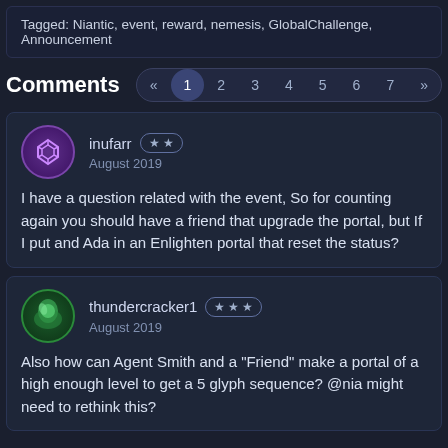Tagged: Niantic, event, reward, nemesis, GlobalChallenge, Announcement
Comments
inufarr ★★ August 2019
I have a question related with the event, So for counting again you should have a friend that upgrade the portal, but If I put and Ada in an Enlighten portal that reset the status?
thundercracker1 ★★★ August 2019
Also how can Agent Smith and a "Friend" make a portal of a high enough level to get a 5 glyph sequence? @nia might need to rethink this?